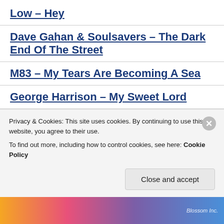Low – Hey
Dave Gahan & Soulsavers – The Dark End Of The Street
M83 – My Tears Are Becoming A Sea
George Harrison – My Sweet Lord
Kavinsky – Renegade
Parcels – Famous
Dave Gahan – Metal Heart
Privacy & Cookies: This site uses cookies. By continuing to use this website, you agree to their use. To find out more, including how to control cookies, see here: Cookie Policy
Close and accept